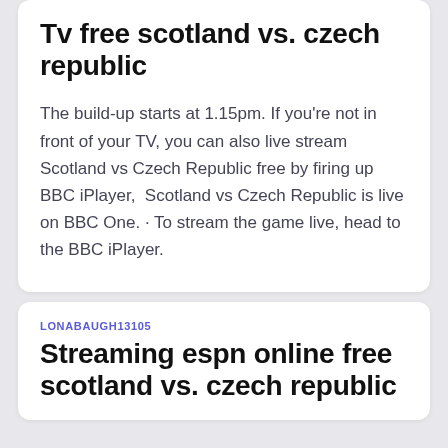Tv free scotland vs. czech republic
The build-up starts at 1.15pm. If you're not in front of your TV, you can also live stream Scotland vs Czech Republic free by firing up BBC iPlayer,  Scotland vs Czech Republic is live on BBC One. · To stream the game live, head to the BBC iPlayer.
LONABAUGH13105
Streaming espn online free scotland vs. czech republic